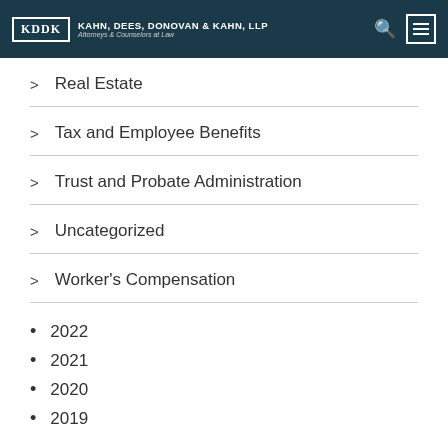KDDK Kahn, Dees, Donovan & Kahn, LLP Attorneys & Counselors at Law
Real Estate
Tax and Employee Benefits
Trust and Probate Administration
Uncategorized
Worker's Compensation
2022
2021
2020
2019